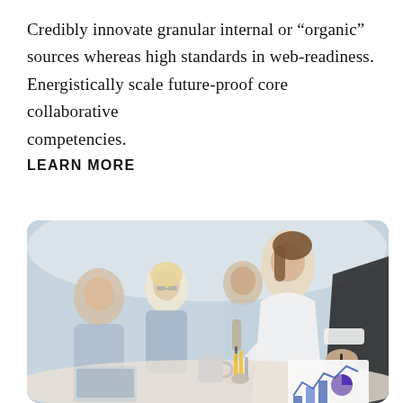Credibly innovate granular internal or "organic" sources whereas high standards in web-readiness. Energistically scale future-proof core collaborative competencies.
LEARN MORE
[Figure (photo): Business meeting photo showing several people around a table. A woman in a white long-sleeve top is pointing at documents showing charts and graphs, while a man next to her holds a pen. In the background, a blonde woman and a man in a blue shirt are visible, slightly out of focus. Office supplies including pencils in a holder and mugs on the table.]